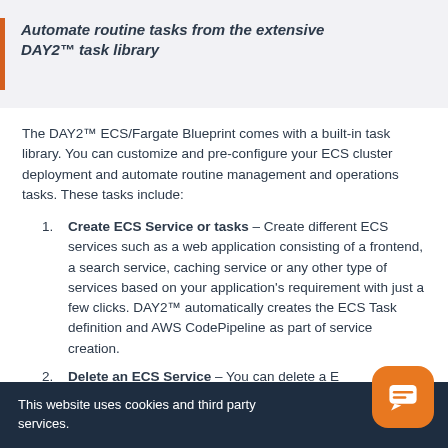Automate routine tasks from the extensive DAY2™ task library
The DAY2™ ECS/Fargate Blueprint comes with a built-in task library. You can customize and pre-configure your ECS cluster deployment and automate routine management and operations tasks. These tasks include:
Create ECS Service or tasks – Create different ECS services such as a web application consisting of a frontend, a search service, caching service or any other type of services based on your application's requirement with just a few clicks. DAY2™ automatically creates the ECS Task definition and AWS CodePipeline as part of service creation.
Delete an ECS Service – You can delete a ...
This website uses cookies and third party services.